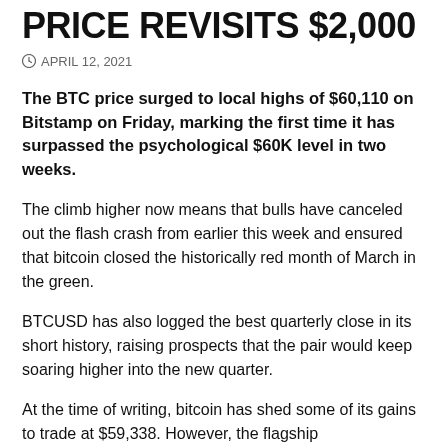PRICE REVISITS $2,000
APRIL 12, 2021
The BTC price surged to local highs of $60,110 on Bitstamp on Friday, marking the first time it has surpassed the psychological $60K level in two weeks.
The climb higher now means that bulls have canceled out the flash crash from earlier this week and ensured that bitcoin closed the historically red month of March in the green.
BTCUSD has also logged the best quarterly close in its short history, raising prospects that the pair would keep soaring higher into the new quarter.
At the time of writing, bitcoin has shed some of its gains to trade at $59,338. However, the flagship cryptocurrency's slow grind back to all-time highs will likely give traders plenty of opportunity to be bullish in the short-term.